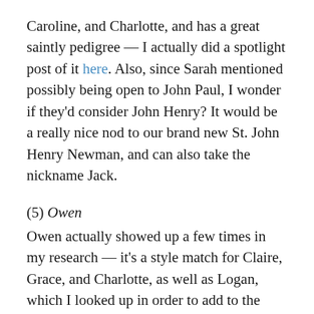Caroline, and Charlotte, and has a great saintly pedigree — I actually did a spotlight post of it here. Also, since Sarah mentioned possibly being open to John Paul, I wonder if they'd consider John Henry? It would be a really nice nod to our brand new St. John Henry Newman, and can also take the nickname Jack.
(5) Owen
Owen actually showed up a few times in my research — it's a style match for Claire, Grace, and Charlotte, as well as Logan, which I looked up in order to add to the names that could be style matches for Cody. I think Owen is a great idea for this family! My favorite patron is St. Nicholas Owen — he was amazing! But there are